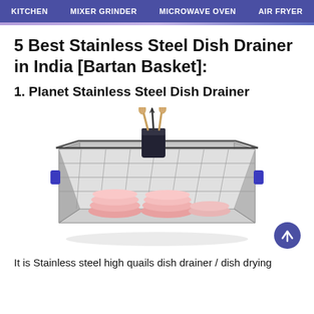KITCHEN   MIXER GRINDER   MICROWAVE OVEN   AIR FRYER
5 Best Stainless Steel Dish Drainer in India [Bartan Basket]:
1. Planet Stainless Steel Dish Drainer
[Figure (photo): A stainless steel wire mesh dish drainer basket with pink plates/bowls inside and a black utensil holder with wooden-handled utensils on top, displayed on a white background.]
It is Stainless steel high quails dish drainer / dish drying